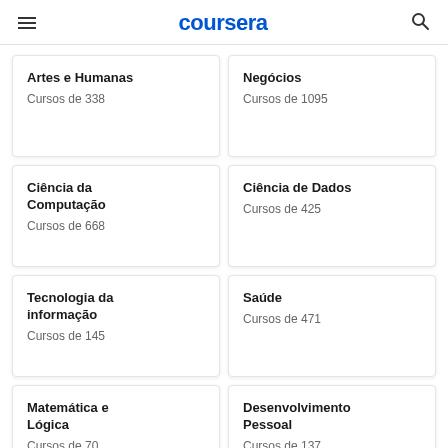coursera
Artes e Humanas
Cursos de 338
Negócios
Cursos de 1095
Ciência da Computação
Cursos de 668
Ciência de Dados
Cursos de 425
Tecnologia da informação
Cursos de 145
Saúde
Cursos de 471
Matemática e Lógica
Cursos de 70
Desenvolvimento Pessoal
Cursos de 137